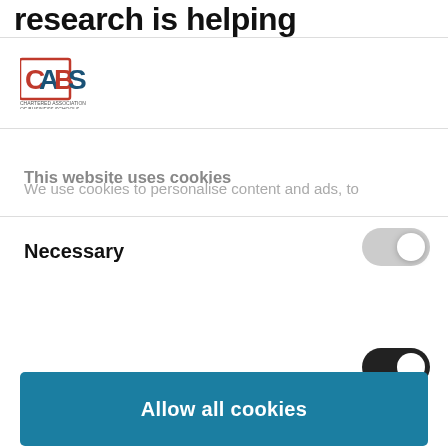research is helping
[Figure (logo): CABS logo - Chartered Association of Business Schools]
This website uses cookies
We use cookies to personalise content and ads, to
Necessary
[Figure (illustration): Toggle switch in off/grey state for Necessary cookies]
[Figure (illustration): Partial toggle switch in on/dark state for second cookie category]
Allow all cookies
Use necessary cookies only
Powered by Cookiebot by Usercentrics
Government. Rumours abound of a planned snake-up of